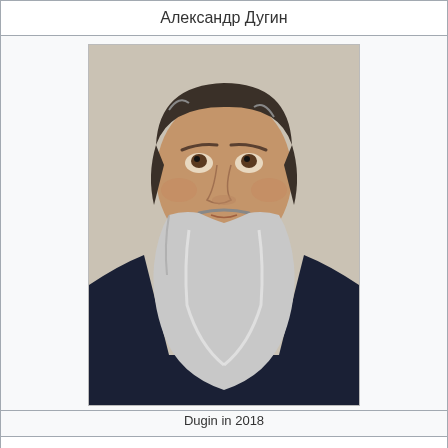Александр Дугин
[Figure (photo): Portrait photo of Alexander Dugin in 2018, an older man with long grey beard and dark hair, wearing a dark jacket, looking upward]
Dugin in 2018
| Born | Aleksandr Gelyevich Dugin
7 January 1962 (age 60) |